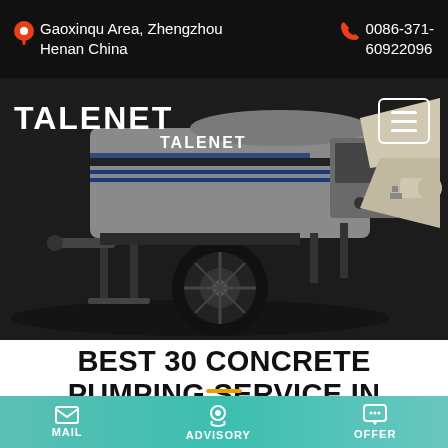Gaoxinqu Area, Zhengzhou Henan China | 0086-371-60922096
[Figure (photo): Talenet branded concrete pump truck (trailer-mounted) on a dark background, showing the TALENET logo on the machine body with grey and white coloring, black wheels, and a mixing hopper]
BEST 30 CONCRETE PUMPING SERVICE IN STANWOOD WA WITH
MAIL | ADVISORY | OFFER